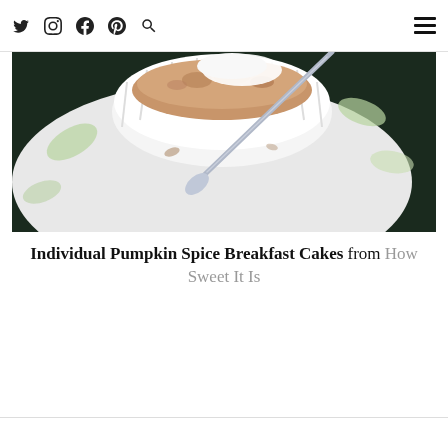Twitter Instagram Facebook Pinterest Search [hamburger menu]
[Figure (photo): Close-up photo of a white ramekin with pumpkin spice breakfast cake, a spoon resting inside, on a decorative plate with leaf pattern, viewed from above at an angle.]
Individual Pumpkin Spice Breakfast Cakes from How Sweet It Is